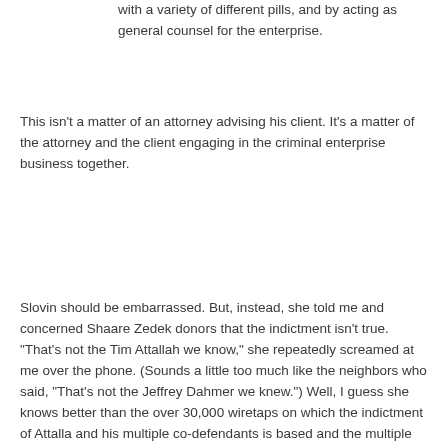with a variety of different pills, and by acting as general counsel for the enterprise.
This isn't a matter of an attorney advising his client. It's a matter of the attorney and the client engaging in the criminal enterprise business together.
Slovin should be embarrassed. But, instead, she told me and concerned Shaare Zedek donors that the indictment isn't true. "That's not the Tim Attallah we know," she repeatedly screamed at me over the phone. (Sounds a little too much like the neighbors who said, "That's not the Jeffrey Dahmer we knew.") Well, I guess she knows better than the over 30,000 wiretaps on which the indictment of Attalla and his multiple co-defendants is based and the multiple sources on the street that confirm the case against him. I guess the secretly taped conversations involving "murder for hire, bloody beatings [and stabbings]